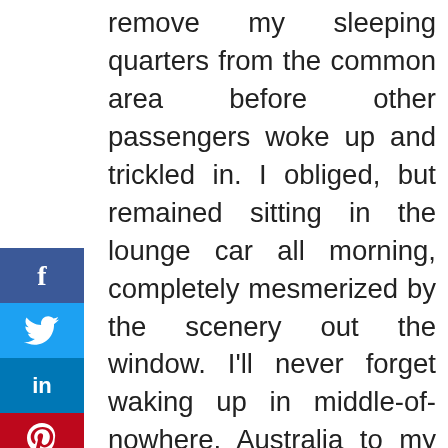remove my sleeping quarters from the common area before other passengers woke up and trickled in. I obliged, but remained sitting in the lounge car all morning, completely mesmerized by the scenery out the window. I'll never forget waking up in middle-of-nowhere, Australia to my first sight of the outback. A gorgeous sunrise soon revealed an expanse of orange sand, with the occasional bush or tumbleweed careening past the tracks.
[Figure (infographic): Social media sharing sidebar with Facebook (blue), Twitter (light blue), LinkedIn (dark blue), Pinterest (red) buttons, a Mix logo, and a collapse arrow.]